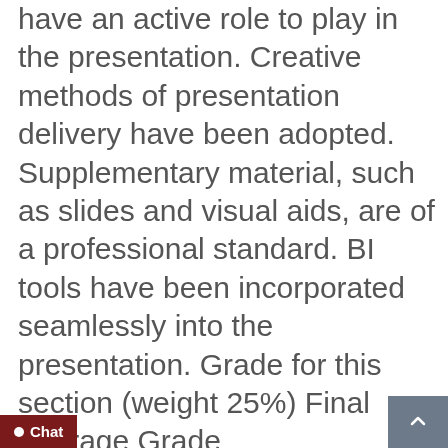have an active role to play in the presentation. Creative methods of presentation delivery have been adopted. Supplementary material, such as slides and visual aids, are of a professional standard. BI tools have been incorporated seamlessly into the presentation. Grade for this section (weight 25%) Final Average Grade COMMONWEALTH OF AUSTRALIA Copyright Regulations 1969 This mater has been reproduced and